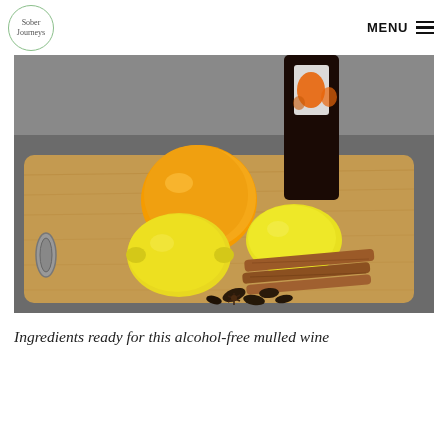Sober Journeys | MENU
[Figure (photo): Ingredients for alcohol-free mulled wine on a wooden cutting board: an orange, two lemons, cinnamon sticks, star anise cloves, and a dark bottle with an orange label in the background, on a dark grey surface.]
Ingredients ready for this alcohol-free mulled wine